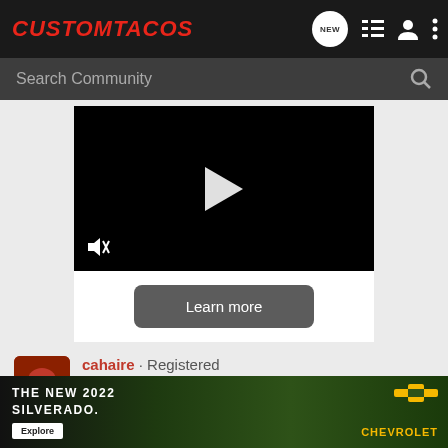CustomTacos
Search Community
[Figure (screenshot): Video player with black background, white play button in center, mute icon at bottom left]
Learn more
cahaire · Registered
Joined Jul 3, 2006 · 201 Posts
#5 · Oct
[Figure (photo): Chevrolet Silverado 2022 advertisement banner with dark background and truck image. Text: THE NEW 2022 SILVERADO. Explore button. CHEVROLET logo.]